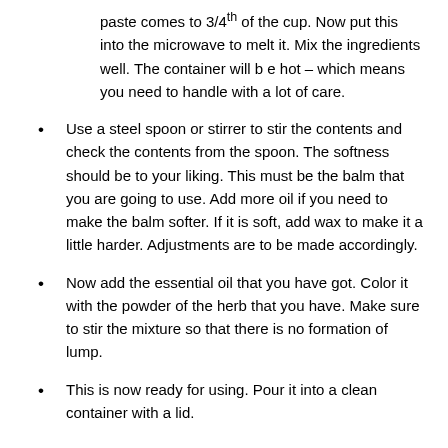paste comes to 3/4th of the cup. Now put this into the microwave to melt it. Mix the ingredients well. The container will b e hot – which means you need to handle with a lot of care.
Use a steel spoon or stirrer to stir the contents and check the contents from the spoon. The softness should be to your liking. This must be the balm that you are going to use. Add more oil if you need to make the balm softer. If it is soft, add wax to make it a little harder. Adjustments are to be made accordingly.
Now add the essential oil that you have got. Color it with the powder of the herb that you have. Make sure to stir the mixture so that there is no formation of lump.
This is now ready for using. Pour it into a clean container with a lid.